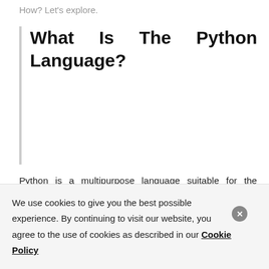How? Let's explore.
What Is The Python Language?
Python is a multipurpose language suitable for the majority of the programming fields. It is the experts' choice as the ideal language for machine learning and creating a neutral network. It is also a common choice for conducting tendencies, predict future patterns, and average prices in the
We use cookies to give you the best possible experience. By continuing to visit our website, you agree to the use of cookies as described in our Cookie Policy